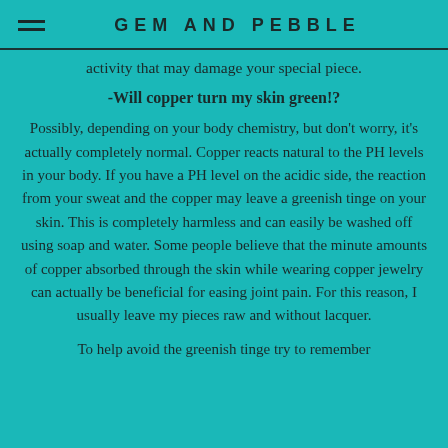GEM AND PEBBLE
activity that may damage your special piece.
-Will copper turn my skin green!?
Possibly, depending on your body chemistry, but don't worry, it's actually completely normal. Copper reacts natural to the PH levels in your body. If you have a PH level on the acidic side, the reaction from your sweat and the copper may leave a greenish tinge on your skin. This is completely harmless and can easily be washed off using soap and water. Some people believe that the minute amounts of copper absorbed through the skin while wearing copper jewelry can actually be beneficial for easing joint pain. For this reason, I usually leave my pieces raw and without lacquer.
To help avoid the greenish tinge try to remember